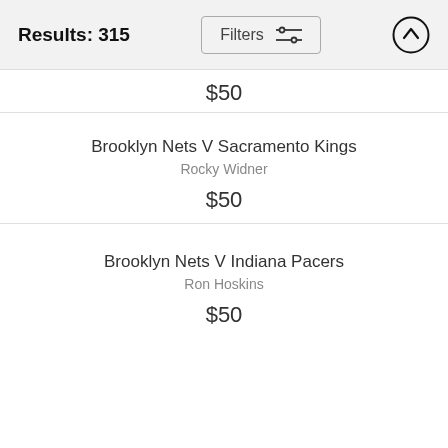Results: 315
$50
Brooklyn Nets V Sacramento Kings
Rocky Widner
$50
Brooklyn Nets V Indiana Pacers
Ron Hoskins
$50